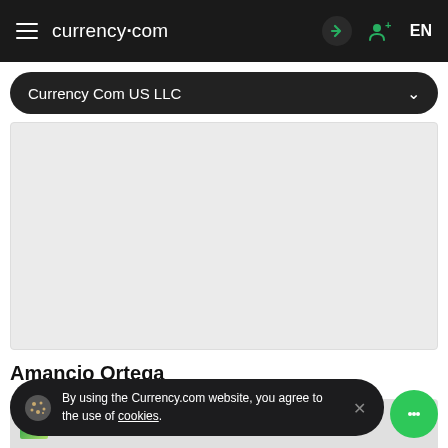currency.com  EN
Currency Com US LLC
[Figure (other): Grey placeholder chart area for Currency Com US LLC trading data]
Amancio Ortega
[Figure (photo): A trading board shown on a screen]
By using the Currency.com website, you agree to the use of cookies.